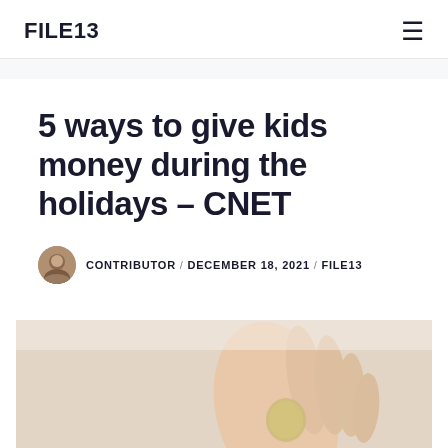FILE13
5 ways to give kids money during the holidays – CNET
CONTRIBUTOR / DECEMBER 18, 2021 / FILE13
[Figure (photo): A hand holding coins or money, partially visible at the bottom of the page]